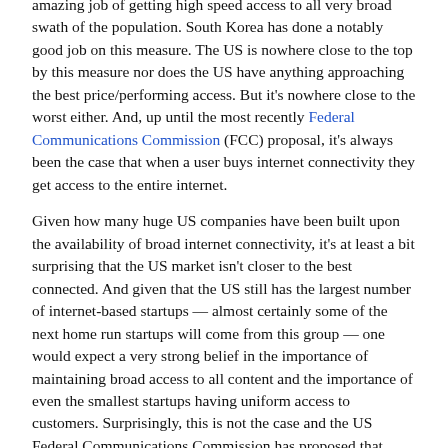amazing job of getting high speed access to all very broad swath of the population. South Korea has done a notably good job on this measure. The US is nowhere close to the top by this measure nor does the US have anything approaching the best price/performing access. But it's nowhere close to the worst either. And, up until the most recently Federal Communications Commission (FCC) proposal, it's always been the case that when a user buys internet connectivity they get access to the entire internet.
Given how many huge US companies have been built upon the availability of broad internet connectivity, it's at least a bit surprising that the US market isn't closer to the best connected. And given that the US still has the largest number of internet-based startups — almost certainly some of the next home run startups will come from this group — one would expect a very strong belief in the importance of maintaining broad access to all content and the importance of even the smallest startups having uniform access to customers. Surprisingly, this is not the case and the US Federal Communications Commission has proposed that networks providers should be able to choose what content their customers get access to at what speed.